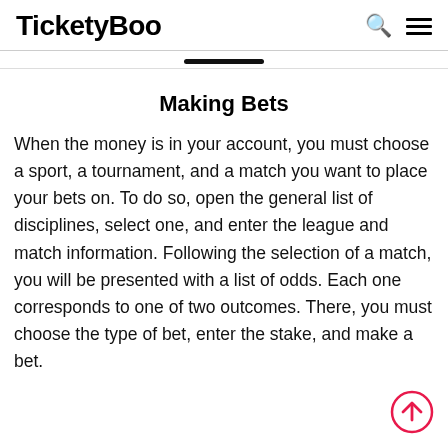TicketyBoo
Making Bets
When the money is in your account, you must choose a sport, a tournament, and a match you want to place your bets on. To do so, open the general list of disciplines, select one, and enter the league and match information. Following the selection of a match, you will be presented with a list of odds. Each one corresponds to one of two outcomes. There, you must choose the type of bet, enter the stake, and make a bet.
[Figure (other): Red circle with upward arrow scroll-to-top button]